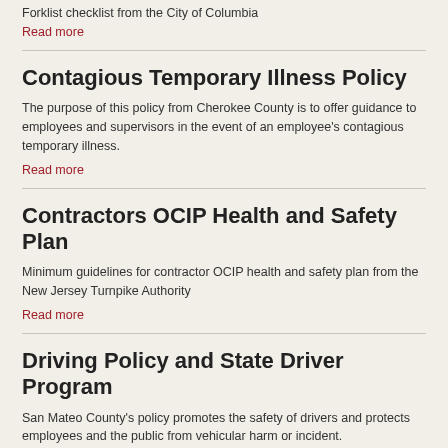Forklist checklist from the City of Columbia
Read more
Contagious Temporary Illness Policy
The purpose of this policy from Cherokee County is to offer guidance to employees and supervisors in the event of an employee's contagious temporary illness.
Read more
Contractors OCIP Health and Safety Plan
Minimum guidelines for contractor OCIP health and safety plan from the New Jersey Turnpike Authority
Read more
Driving Policy and State Driver Program
San Mateo County's policy promotes the safety of drivers and protects employees and the public from vehicular harm or incident.
Read more